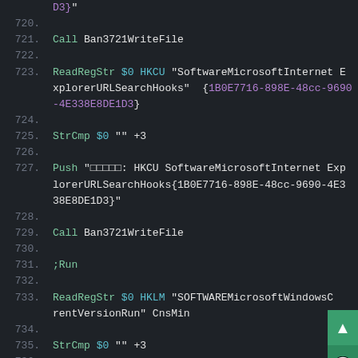[Figure (screenshot): Code editor screenshot showing NSIS script lines 720-736 with syntax highlighting. Dark background with green keywords, cyan variables/registry keys, purple GUIDs, and white string content.]